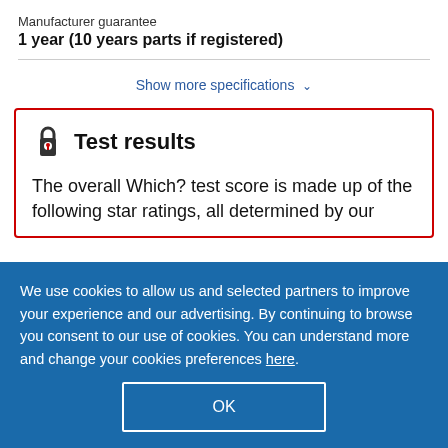Manufacturer guarantee
1 year (10 years parts if registered)
Show more specifications
Test results
The overall Which? test score is made up of the following star ratings, all determined by our
We use cookies to allow us and selected partners to improve your experience and our advertising. By continuing to browse you consent to our use of cookies. You can understand more and change your cookies preferences here.
OK